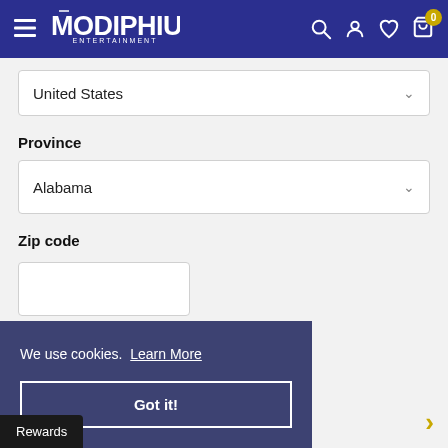[Figure (screenshot): Modiphius Entertainment website header with hamburger menu, logo, search icon, account icon, wishlist icon, and cart icon with badge showing 0]
United States
Province
Alabama
Zip code
We use cookies.  Learn More
Got it!
Rewards